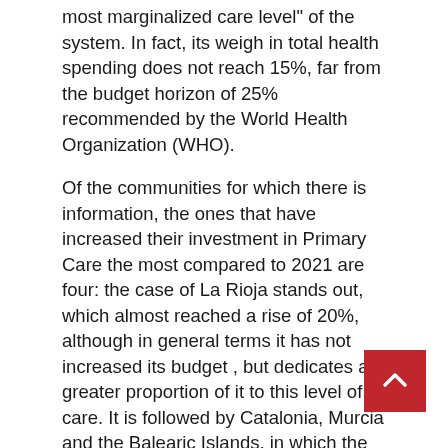most marginalized care level" of the system. In fact, its weigh in total health spending does not reach 15%, far from the budget horizon of 25% recommended by the World Health Organization (WHO).
Of the communities for which there is information, the ones that have increased their investment in Primary Care the most compared to 2021 are four: the case of La Rioja stands out, which almost reached a rise of 20%, although in general terms it has not increased its budget , but dedicates a greater proportion of it to this level of care. It is followed by Catalonia, Murcia and the Balearic Islands, in which the budget grows by more than 10%.
Below are Madrid, Cantabria, Extremadura, Canary Islands and Navarra, while only one,